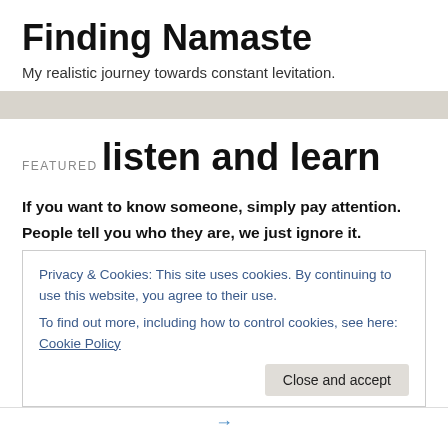Finding Namaste
My realistic journey towards constant levitation.
FEATURED
listen and learn
If you want to know someone, simply pay attention. People tell you who they are, we just ignore it.
Privacy & Cookies: This site uses cookies. By continuing to use this website, you agree to their use.
To find out more, including how to control cookies, see here: Cookie Policy
Close and accept